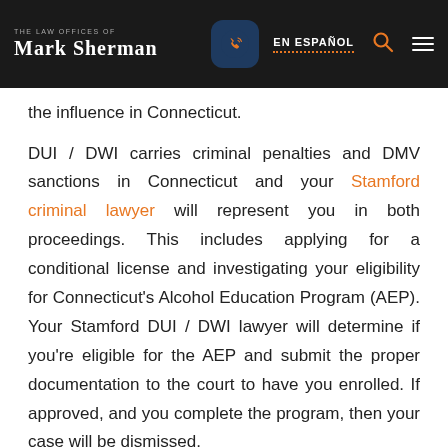THE LAW OFFICES OF MARK SHERMAN | EN ESPAÑOL
the influence in Connecticut.
DUI / DWI carries criminal penalties and DMV sanctions in Connecticut and your Stamford criminal lawyer will represent you in both proceedings. This includes applying for a conditional license and investigating your eligibility for Connecticut's Alcohol Education Program (AEP). Your Stamford DUI / DWI lawyer will determine if you're eligible for the AEP and submit the proper documentation to the court to have you enrolled. If approved, and you complete the program, then your case will be dismissed.
Connecticut DUI / DWI laws are strict and can be very